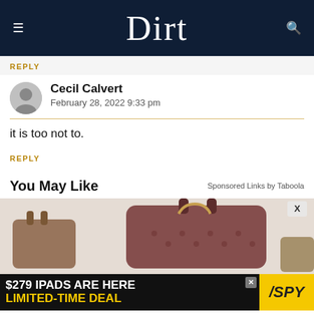Dirt
REPLY
Cecil Calvert
February 28, 2022 9:33 pm
it is too not to.
REPLY
You May Like
Sponsored Links by Taboola
[Figure (photo): Product image of designer handbags (Louis Vuitton style) in brown/maroon colors]
[Figure (photo): Advertisement banner: $279 IPADS ARE HERE LIMITED-TIME DEAL with SPY logo]